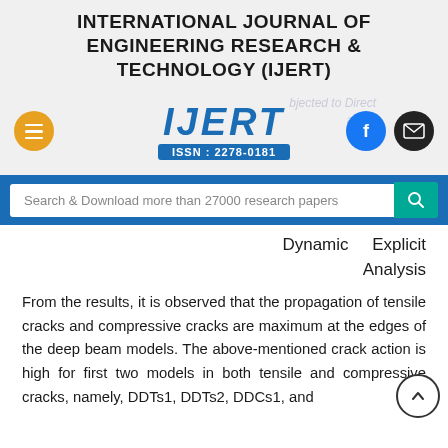INTERNATIONAL JOURNAL OF ENGINEERING RESEARCH & TECHNOLOGY (IJERT)
[Figure (logo): IJERT logo with ISSN 2278-0181, hamburger menu button, Facebook and email buttons, and watermark text 'subjected to Direct loading']
Search & Download more than 27000 research papers
Dynamic Explicit Analysis
From the results, it is observed that the propagation of tensile cracks and compressive cracks are maximum at the edges of the deep beam models. The above-mentioned crack action is high for first two models in both tensile and compressive cracks, namely, DDTs1, DDTs2, DDCs1, and